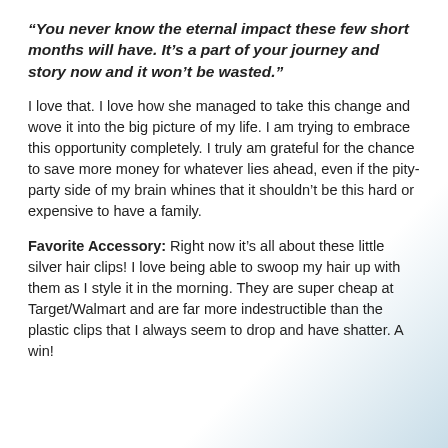“You never know the eternal impact these few short months will have. It’s a part of your journey and story now and it won’t be wasted.”
I love that. I love how she managed to take this change and wove it into the big picture of my life. I am trying to embrace this opportunity completely. I truly am grateful for the chance to save more money for whatever lies ahead, even if the pity-party side of my brain whines that it shouldn’t be this hard or expensive to have a family.
Favorite Accessory: Right now it’s all about these little silver hair clips! I love being able to swoop my hair up with them as I style it in the morning. They are super cheap at Target/Walmart and are far more indestructible than the plastic clips that I always seem to drop and have shatter. A win!